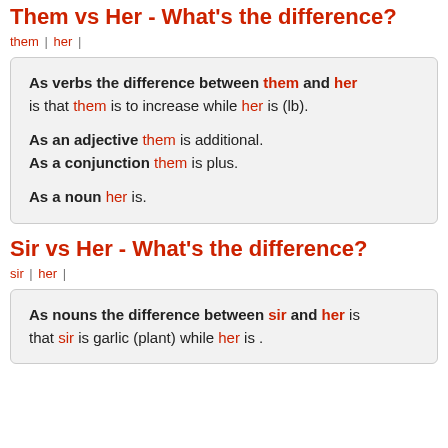Them vs Her - What's the difference?
them | her |
As verbs the difference between them and her is that them is to increase while her is (lb). As an adjective them is additional. As a conjunction them is plus. As a noun her is.
Sir vs Her - What's the difference?
sir | her |
As nouns the difference between sir and her is that sir is garlic (plant) while her is .